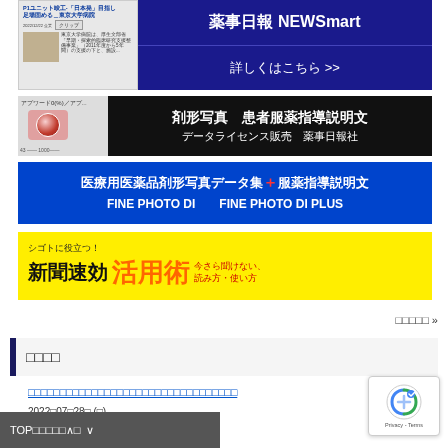[Figure (screenshot): Advertisement banner: 薬事日報 NEWSmart with 詳しくはこちら >> button on blue background, with thumbnail image on left]
[Figure (screenshot): Advertisement banner: 剤形写真 患者服薬指導説明文 データライセンス販売 薬事日報社 on black background with pill image]
[Figure (screenshot): Advertisement banner (blue): 医療用医薬品剤形写真データ集＋服薬指導説明文 FINE PHOTO DI / FINE PHOTO DI PLUS]
[Figure (screenshot): Advertisement banner (yellow): シゴトに役立つ！新聞速効 活用術 今さら聞けない、読み方・使い方]
□□□□□ »
□□□□
□□□□□□□□□□□□□□□□□□□□□□□□□□□□□□□□□
2022□07□28□ (□)
TOP□□□□□∧□ ∨